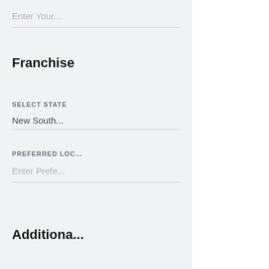Enter Your...
Franchise
SELECT STATE
New South...
PREFERRED LOC...
Enter Prefe...
Additional
MESSAGE